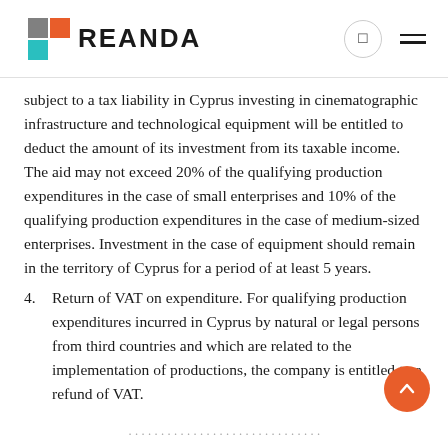REANDA
subject to a tax liability in Cyprus investing in cinematographic infrastructure and technological equipment will be entitled to deduct the amount of its investment from its taxable income. The aid may not exceed 20% of the qualifying production expenditures in the case of small enterprises and 10% of the qualifying production expenditures in the case of medium-sized enterprises. Investment in the case of equipment should remain in the territory of Cyprus for a period of at least 5 years.
4. Return of VAT on expenditure. For qualifying production expenditures incurred in Cyprus by natural or legal persons from third countries and which are related to the implementation of productions, the company is entitled to a refund of VAT.